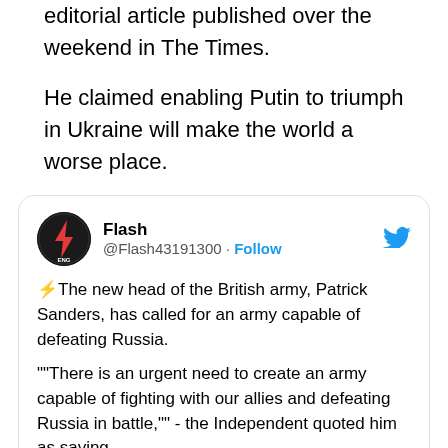editorial article published over the weekend in The Times.
He claimed enabling Putin to triumph in Ukraine will make the world a worse place.
[Figure (screenshot): Tweet from @Flash43191300 (Flash) with text: '⚡The new head of the British army, Patrick Sanders, has called for an army capable of defeating Russia. ""There is an urgent need to create an army capable of fighting with our allies and defeating Russia in battle,"" - the Independent quoted him as saying.']
[Figure (photo): Partial bottom image, appears to be a photo, mostly cut off]